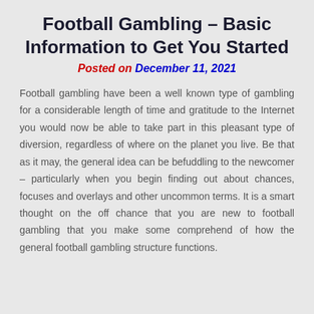Football Gambling – Basic Information to Get You Started
Posted on December 11, 2021
Football gambling have been a well known type of gambling for a considerable length of time and gratitude to the Internet you would now be able to take part in this pleasant type of diversion, regardless of where on the planet you live. Be that as it may, the general idea can be befuddling to the newcomer – particularly when you begin finding out about chances, focuses and overlays and other uncommon terms. It is a smart thought on the off chance that you are new to football gambling that you make some comprehend of how the general football gambling structure functions.